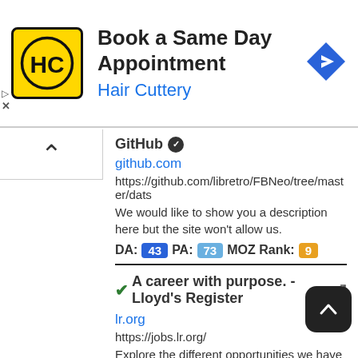[Figure (screenshot): Hair Cuttery advertisement banner: yellow square logo with HC monogram, title 'Book a Same Day Appointment', subtitle 'Hair Cuttery' in blue, blue diamond navigation icon on right. Ad controls (triangle/X) on lower left.]
[Figure (screenshot): Web search result interface. Left panel shows scroll-up chevron button. Right panel shows GitHub result with domain 'github.com', URL 'https://github.com/libretro/FBNeo/tree/master/dats', description about site not allowing description. DA: 43, PA: 73, MOZ Rank: 9 badges. Divider line. Second result: checkmark + 'A career with purpose. - Lloyd\'s Register' with external link icon. Domain 'lr.org', URL 'https://jobs.lr.org/', snippet about LR career opportunities. Scroll-to-top dark button bottom right.]